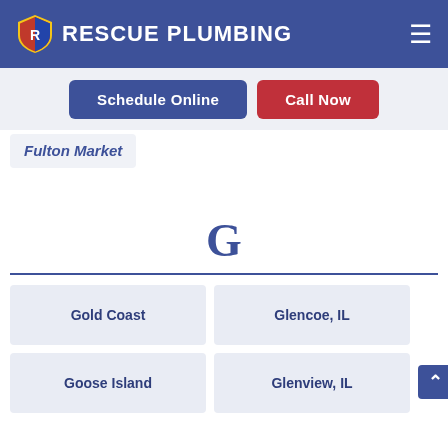RESCUE PLUMBING
Schedule Online | Call Now
Fulton Market
G
Gold Coast
Glencoe, IL
Goose Island
Glenview, IL